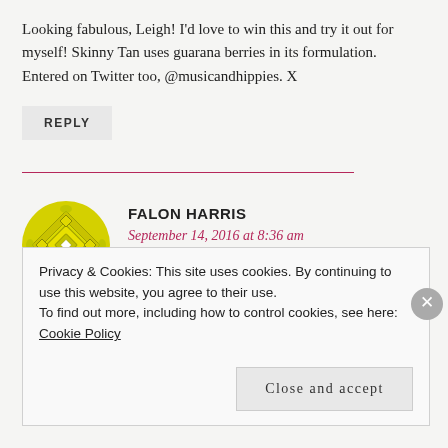Looking fabulous, Leigh! I'd love to win this and try it out for myself! Skinny Tan uses guarana berries in its formulation. Entered on Twitter too, @musicandhippies. X
REPLY
FALON HARRIS
September 14, 2016 at 8:36 am
Privacy & Cookies: This site uses cookies. By continuing to use this website, you agree to their use.
To find out more, including how to control cookies, see here: Cookie Policy
Close and accept